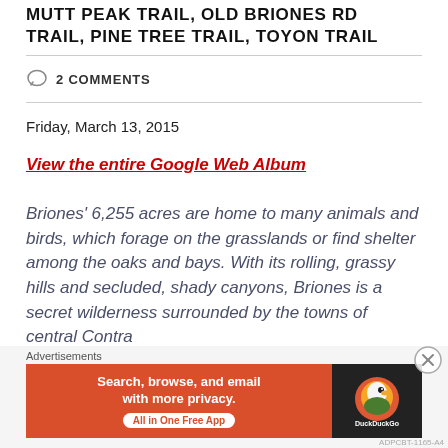MUTT PEAK TRAIL, OLD BRIONES RD TRAIL, PINE TREE TRAIL, TOYON TRAIL
2 COMMENTS
Friday, March 13, 2015
View the entire Google Web Album
Briones' 6,255 acres are home to many animals and birds, which forage on the grasslands or find shelter among the oaks and bays. With its rolling, grassy hills and secluded, shady canyons, Briones is a secret wilderness surrounded by the towns of central Contra
[Figure (other): DuckDuckGo advertisement banner: orange left panel with text 'Search, browse, and email with more privacy. All in One Free App' and dark right panel with DuckDuckGo logo]